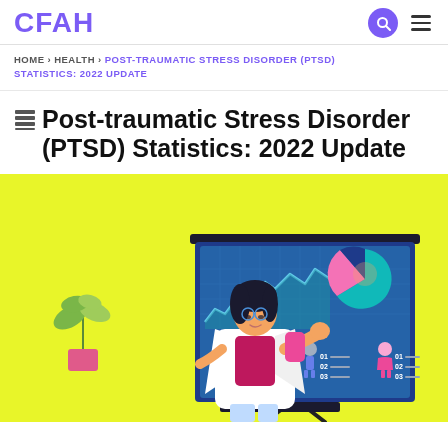CFAH
HOME › HEALTH › POST-TRAUMATIC STRESS DISORDER (PTSD) STATISTICS: 2022 UPDATE
Post-traumatic Stress Disorder (PTSD) Statistics: 2022 Update
[Figure (illustration): Illustrated scene on yellow background showing a female doctor/presenter in white coat with glasses pointing at a large blue presentation board. The board displays a line chart, a pie chart, and infographic figures of male and female with numbered lists 01, 02, 03. A potted plant is visible to the left.]